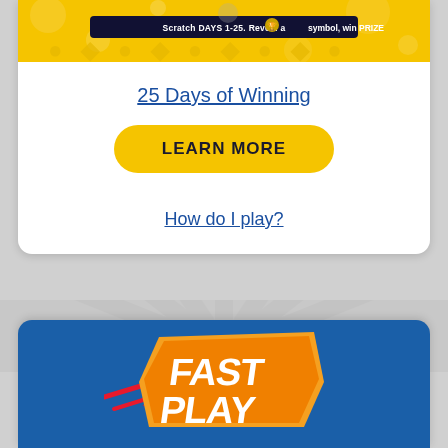[Figure (screenshot): Scratch ticket banner in yellow showing '25 Days of Winning' game with text 'Scratch DAYS 1-25. Reveal a trophy symbol, win PRIZE']
25 Days of Winning
LEARN MORE
How do I play?
[Figure (logo): Fast Play logo in orange and white text on blue background with speed streak design]